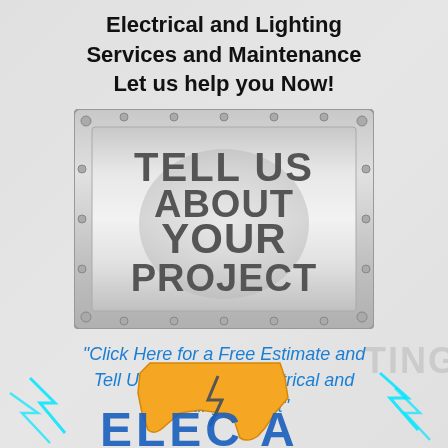Electrical and Lighting Services and Maintenance Let us help you Now!
[Figure (illustration): Metal panel sign with rivets reading TELL US ABOUT YOUR PROJECT in bold dark gray text on a silver metallic background]
"Click Here for a Free Estimate and Tell Us About Your Electrical and Lighting Project"
[Figure (logo): Florida state silhouette in gold/orange with lightning bolt and blue letters partially visible at bottom, surrounded by cyan lightning bolt graphics]